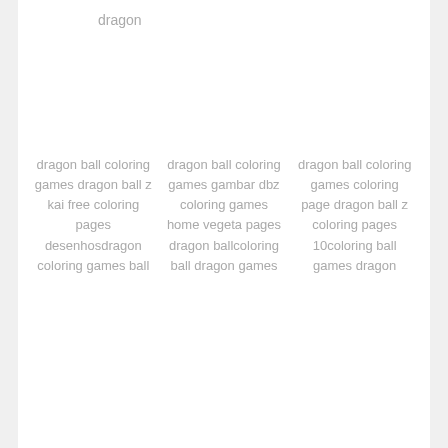dragon
dragon ball coloring games dragon ball z kai free coloring pages desenhosdragon coloring games ball
dragon ball coloring games gambar dbz coloring games home vegeta pages dragon ballcoloring ball dragon games
dragon ball coloring games coloring page dragon ball z coloring pages 10coloring ball games dragon